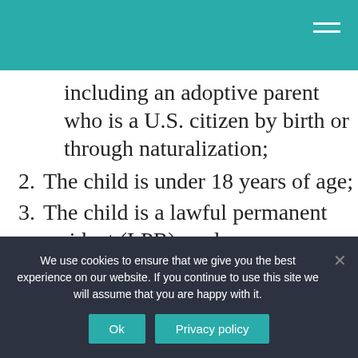including an adoptive parent who is a U.S. citizen by birth or through naturalization;
2. The child is under 18 years of age;
3. The child is a lawful permanent resident (LPR); and.
4. The child is residing in the United States in the legal and physical custody of the U.S. citizen parent.
We use cookies to ensure that we give you the best experience on our website. If you continue to use this site we will assume that you are happy with it.